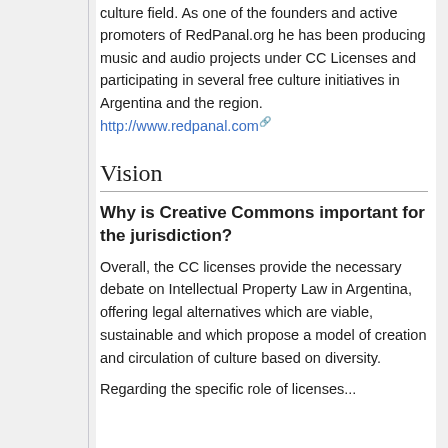culture field. As one of the founders and active promoters of RedPanal.org he has been producing music and audio projects under CC Licenses and participating in several free culture initiatives in Argentina and the region. http://www.redpanal.com
Vision
Why is Creative Commons important for the jurisdiction?
Overall, the CC licenses provide the necessary debate on Intellectual Property Law in Argentina, offering legal alternatives which are viable, sustainable and which propose a model of creation and circulation of culture based on diversity.
Regarding the specific role of licenses...